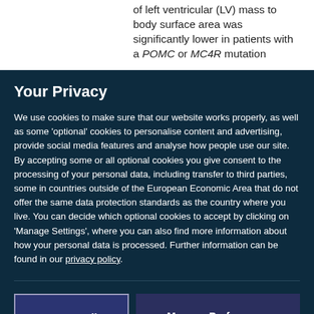of left ventricular (LV) mass to body surface area was significantly lower in patients with a POMC or MC4R mutation
Your Privacy
We use cookies to make sure that our website works properly, as well as some 'optional' cookies to personalise content and advertising, provide social media features and analyse how people use our site. By accepting some or all optional cookies you give consent to the processing of your personal data, including transfer to third parties, some in countries outside of the European Economic Area that do not offer the same data protection standards as the country where you live. You can decide which optional cookies to accept by clicking on 'Manage Settings', where you can also find more information about how your personal data is processed. Further information can be found in our privacy policy.
Accept All Cookies
Manage Preferences